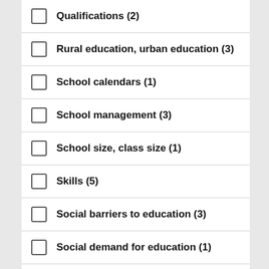Qualifications (2)
Rural education, urban education (3)
School calendars (1)
School management (3)
School size, class size (1)
Skills (5)
Social barriers to education (3)
Social demand for education (1)